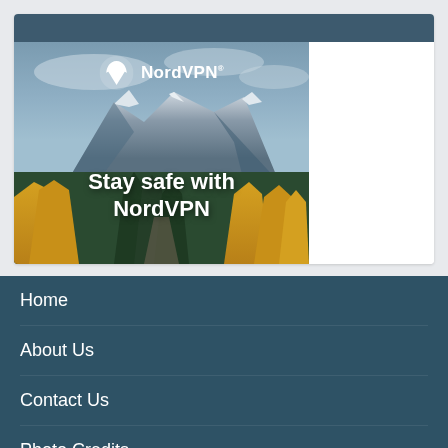[Figure (advertisement): NordVPN advertisement with mountain landscape background. Shows NordVPN logo at top and text 'Stay safe with NordVPN' overlaid on a scenic mountain/forest/yellow autumn trees photo.]
Home
About Us
Contact Us
Photo Credits